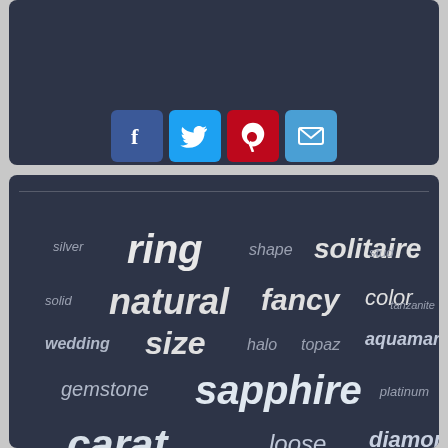[Figure (other): Social sharing buttons panel with dark background]
[Figure (infographic): Tag cloud with jewelry/gemstone related words: ring, solitaire, shape, stud, silver, natural, fancy, color, tanzanite, solid, wedding, size, halo, topaz, aquamarine, gemstone, sapphire, platinum, carat, loose, diamonds, engagement, real, brilliant, diamond, gold, yellow]